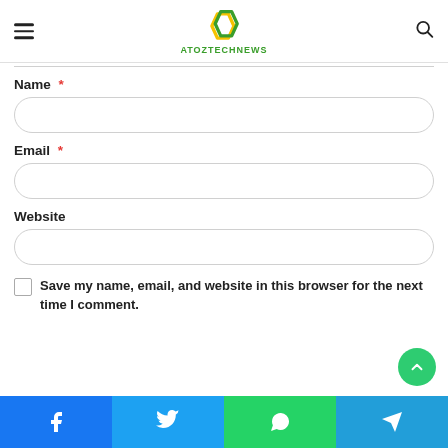ATOZTECHNEWS
Name *
Email *
Website
Save my name, email, and website in this browser for the next time I comment.
Facebook | Twitter | WhatsApp | Telegram